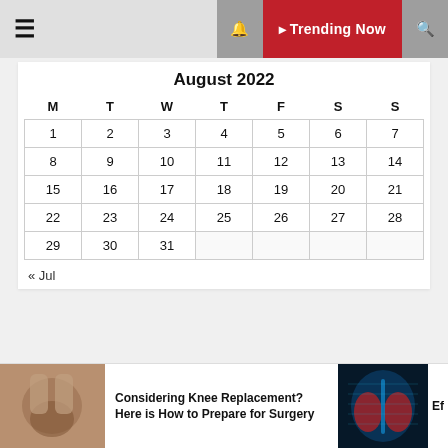≡  🔔 Trending Now 🔍
August 2022
| M | T | W | T | F | S | S |
| --- | --- | --- | --- | --- | --- | --- |
| 1 | 2 | 3 | 4 | 5 | 6 | 7 |
| 8 | 9 | 10 | 11 | 12 | 13 | 14 |
| 15 | 16 | 17 | 18 | 19 | 20 | 21 |
| 22 | 23 | 24 | 25 | 26 | 27 | 28 |
| 29 | 30 | 31 |  |  |  |  |
« Jul
Considering Knee Replacement? Here is How to Prepare for Surgery
Ef